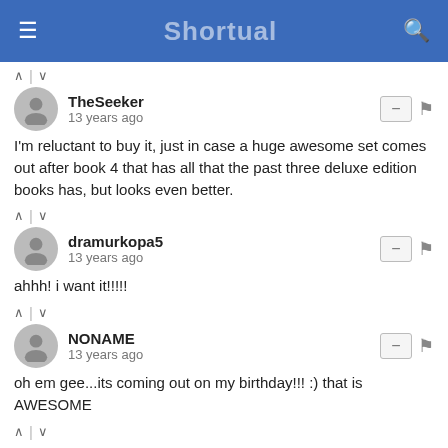Shortual
TheSeeker
13 years ago
I'm reluctant to buy it, just in case a huge awesome set comes out after book 4 that has all that the past three deluxe edition books has, but looks even better.
dramurkopa5
13 years ago
ahhh! i want it!!!!!
NONAME
13 years ago
oh em gee...its coming out on my birthday!!! :) that is AWESOME